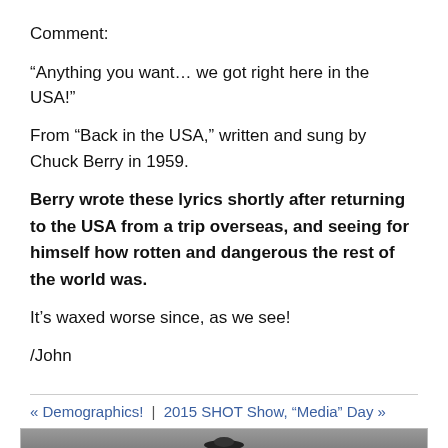Comment:
“Anything you want… we got right here in the USA!”
From “Back in the USA,” written and sung by Chuck Berry in 1959.
Berry wrote these lyrics shortly after returning to the USA from a trip overseas, and seeing for himself how rotten and dangerous the rest of the world was.
It’s waxed worse since, as we see!
/John
« Demographics! | 2015 SHOT Show, “Media” Day »
[Figure (photo): Black and white photograph showing a person at the bottom, partially visible, against a grey background.]